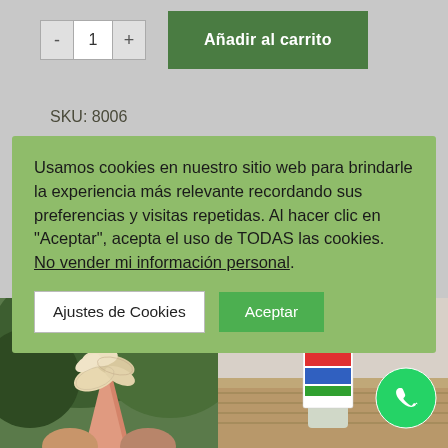[Figure (screenshot): Quantity selector with minus button, number 1, plus button, and green 'Añadir al carrito' button]
SKU: 8006
Usamos cookies en nuestro sitio web para brindarle la experiencia más relevante recordando sus preferencias y visitas repetidas. Al hacer clic en "Aceptar", acepta el uso de TODAS las cookies. No vender mi información personal.
Ajustes de Cookies
Aceptar
[Figure (photo): Photo of fried food items in a paper cone holder, held by hands, with green foliage in background]
[Figure (photo): Photo of a decorative bottle or product with colorful label on a woven surface]
[Figure (logo): WhatsApp green circular button icon]